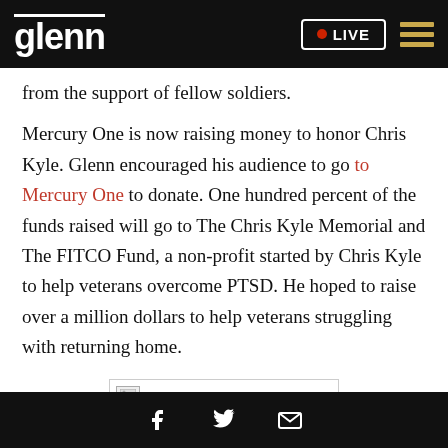glenn | LIVE
from the support of fellow soldiers.
Mercury One is now raising money to honor Chris Kyle. Glenn encouraged his audience to go to Mercury One to donate. One hundred percent of the funds raised will go to The Chris Kyle Memorial and The FITCO Fund, a non-profit started by Chris Kyle to help veterans overcome PTSD. He hoped to raise over a million dollars to help veterans struggling with returning home.
[Figure (photo): Broken image placeholder]
Social media icons: Facebook, Twitter, Email